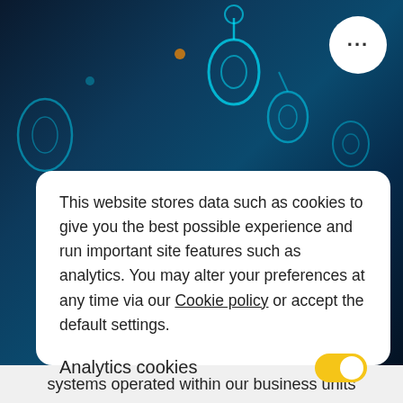[Figure (screenshot): Dark blue/teal technology background with glowing circuit-like rings and nodes]
This website stores data such as cookies to give you the best possible experience and run important site features such as analytics. You may alter your preferences at any time via our Cookie policy or accept the default settings.
Analytics cookies
Marketing cookies
I'm ok with that
systems operated within our business units